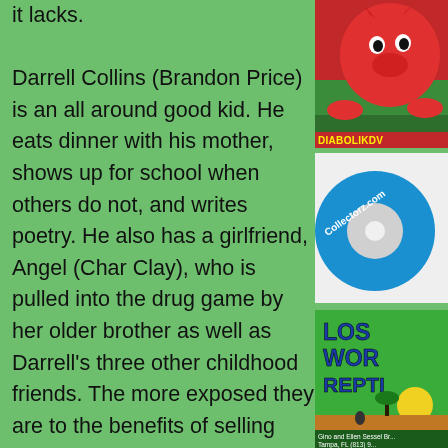it lacks.

Darrell Collins (Brandon Price) is an all around good kid. He eats dinner with his mother, shows up for school when others do not, and writes poetry. He also has a girlfriend, Angel (Char Clay), who is pulled into the drug game by her older brother as well as Darrell's three other childhood friends. The more exposed they are to the benefits of selling drugs, the more greedy and violent they become, until Darrell decides that he's seen too much
[Figure (illustration): Diabolik DVD logo - red devil creature on green background with text DIABOLIKDV at bottom]
[Figure (logo): Collectorz.com circular logo - blue and gray disc shape with website text]
[Figure (illustration): Lost World Reptiles logo on green background with text and Tampa FL address at bottom]